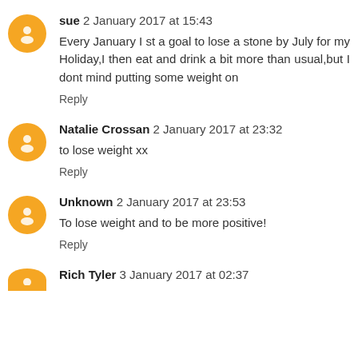sue  2 January 2017 at 15:43
Every January I st a goal to lose a stone by July for my Holiday,I then eat and drink a bit more than usual,but I dont mind putting some weight on
Reply
Natalie Crossan  2 January 2017 at 23:32
to lose weight xx
Reply
Unknown  2 January 2017 at 23:53
To lose weight and to be more positive!
Reply
Rich Tyler  3 January 2017 at 02:37